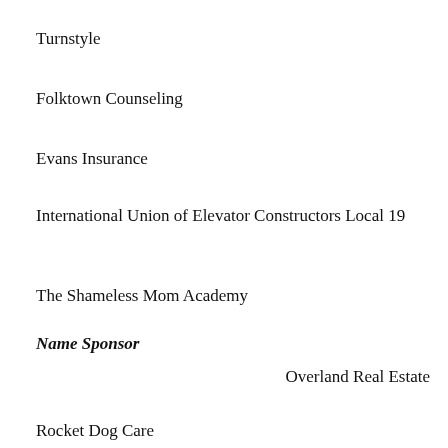Turnstyle
Folktown Counseling
Evans Insurance
International Union of Elevator Constructors Local 19
The Shameless Mom Academy
Name Sponsor
Overland Real Estate
Rocket Dog Care